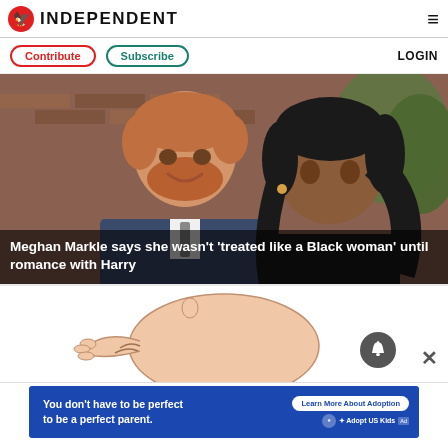INDEPENDENT
Contribute  Subscribe  LOGIN
[Figure (photo): Prince Harry and Meghan Markle smiling together outdoors in front of a brick wall. Harry wears a dark suit, Meghan wears a black outfit.]
Meghan Markle says she wasn’t ‘treated like a Black woman’ until romance with Harry
[Figure (illustration): Illustration of a baby or infant figure, outline/sketch style in beige/skin tones]
[Figure (infographic): Advertisement banner: 'You don't have to be perfect to be a perfect parent.' with 'Learn More About Adoption' button and Adopt US Kids logo]